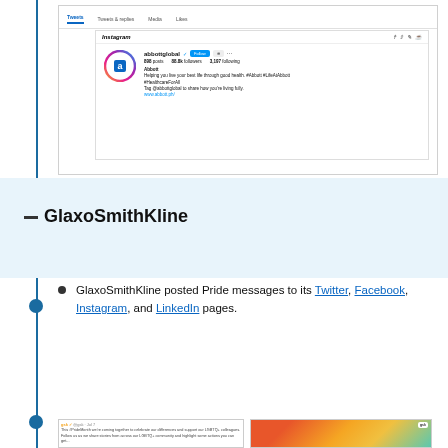[Figure (screenshot): Instagram profile page for abbottglobal showing profile picture with Abbott logo, follower stats, bio text about helping find best health, and navigation tabs (Tweets, Tweets & replies, Media, Likes)]
GlaxoSmithKline
GlaxoSmithKline posted Pride messages to its Twitter, Facebook, Instagram, and LinkedIn pages.
[Figure (screenshot): Two screenshots at bottom: left shows a GSK tweet about celebrating differences and supporting LGBTQ+ community; right shows a colorful Pride rainbow image with GSK branding]